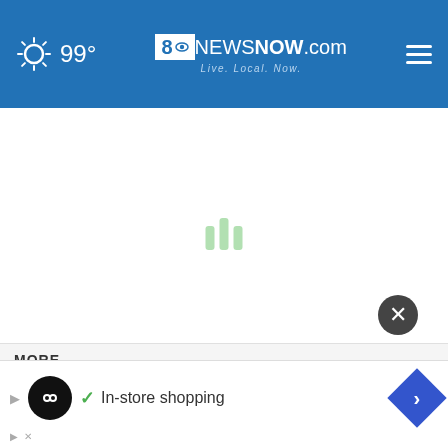8NewsNOW.com — Live. Local. Now. | 99°
[Figure (screenshot): Loading spinner (three green vertical bars) centered in white content area]
[Figure (screenshot): Second loading spinner (three green vertical bars)]
MORE
[Figure (screenshot): Close button (dark circle with X) and advertisement banner overlay with logo, checkmark, 'In-store shopping' text, and navigation arrow icon]
The Immersive Nutcracker heads to